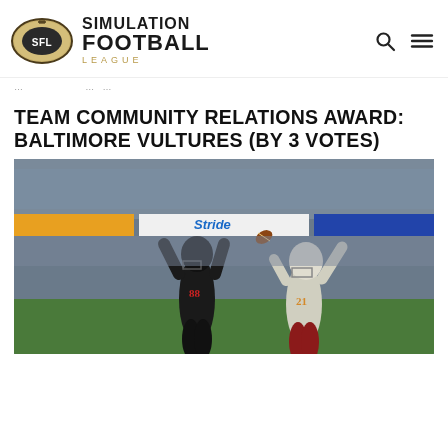[Figure (logo): Simulation Football League logo — football eye shape with SFL text, gold and dark colors]
...
TEAM COMMUNITY RELATIONS AWARD: BALTIMORE VULTURES (BY 3 VOTES)
[Figure (photo): Football video game screenshot showing two players — one in black uniform and one in light gray/maroon uniform #21 — jumping and competing for the ball in a stadium filled with crowd]